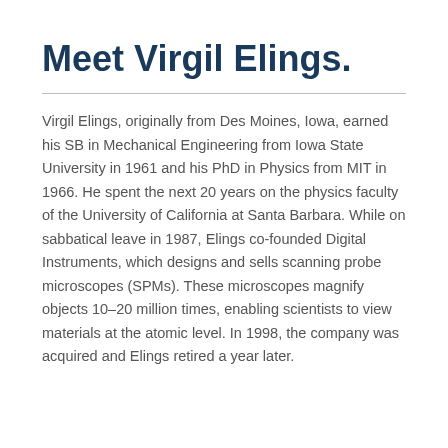Meet Virgil Elings.
Virgil Elings, originally from Des Moines, Iowa, earned his SB in Mechanical Engineering from Iowa State University in 1961 and his PhD in Physics from MIT in 1966. He spent the next 20 years on the physics faculty of the University of California at Santa Barbara. While on sabbatical leave in 1987, Elings co-founded Digital Instruments, which designs and sells scanning probe microscopes (SPMs). These microscopes magnify objects 10–20 million times, enabling scientists to view materials at the atomic level. In 1998, the company was acquired and Elings retired a year later.